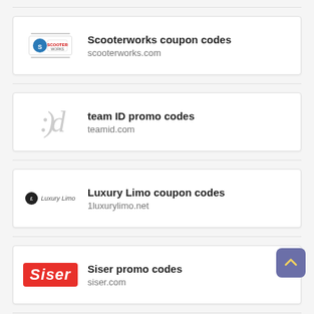Scooterworks coupon codes
scooterworks.com
team ID promo codes
teamid.com
Luxury Limo coupon codes
1luxurylimo.net
Siser promo codes
siser.com
[Figure (screenshot): Back to top navigation button, purple/slate square with upward chevron arrow]
PCMall discount codes (partial)